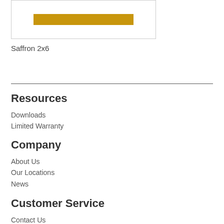[Figure (illustration): Product swatch image showing a saffron/gold colored rectangular bar inside a bordered box]
Saffron 2x6
Resources
Downloads
Limited Warranty
Company
About Us
Our Locations
News
Customer Service
Contact Us